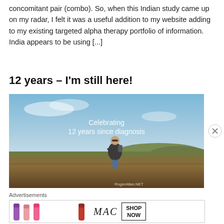concomitant pair (combo). So, when this Indian study came up on my radar, I felt it was a useful addition to my website adding to my existing targeted alpha therapy portfolio of information. India appears to be using [...]
12 years – I'm still here!
[Figure (photo): A person standing outdoors on heathland/moorland under a blue sky with text overlay: 'Celebrating 12 years since diagnosis' and watermark 'RogerAllan.NET']
Advertisements
[Figure (photo): MAC cosmetics advertisement showing lipsticks with text 'MAC' and 'SHOP NOW' button]